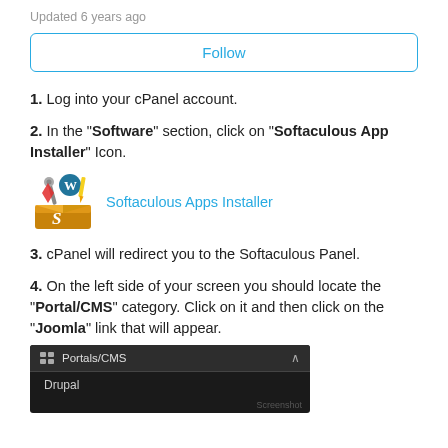Updated 6 years ago
Follow
1. Log into your cPanel account.
2. In the "Software" section, click on "Softaculous App Installer" Icon.
[Figure (screenshot): Softaculous Apps Installer icon with colorful tools coming out of a box, next to the text link 'Softaculous Apps Installer' in blue]
3. cPanel will redirect you to the Softaculous Panel.
4. On the left side of your screen you should locate the "Portal/CMS" category. Click on it and then click on the "Joomla" link that will appear.
[Figure (screenshot): Dark themed sidebar screenshot showing 'Portals/CMS' category with Drupal listed below it]